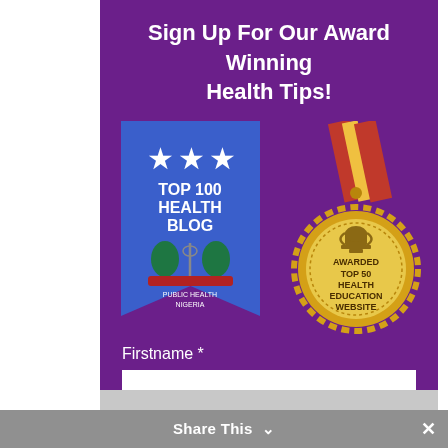Sign Up For Our Award Winning Health Tips!
[Figure (illustration): Blue banner badge with three white stars and text 'TOP 100 HEALTH BLOG' with Public Health Nigeria logo crest]
[Figure (illustration): Gold medal with red and yellow ribbon, text 'AWARDED TOP 50 HEALTH EDUCATION WEBSITE']
Firstname *
Email *
Share This